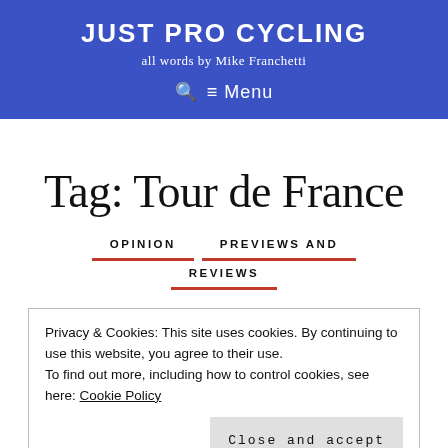JUST PRO CYCLING
all words by Mike Franchetti
≡ Menu
Tag: Tour de France
OPINION   PREVIEWS AND REVIEWS
Privacy & Cookies: This site uses cookies. By continuing to use this website, you agree to their use.
To find out more, including how to control cookies, see here: Cookie Policy
Close and accept